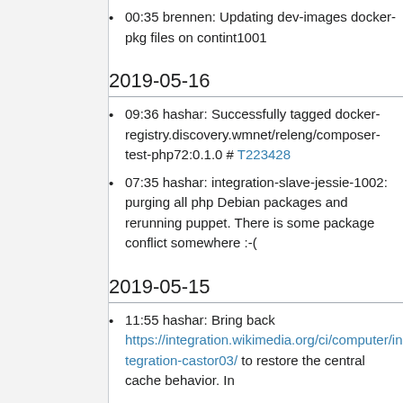00:35 brennen: Updating dev-images docker-pkg files on contint1001
2019-05-16
09:36 hashar: Successfully tagged docker-registry.discovery.wmnet/releng/composer-test-php72:0.1.0 # T223428
07:35 hashar: integration-slave-jessie-1002: purging all php Debian packages and rerunning puppet. There is some package conflict somewhere :-(
2019-05-15
11:55 hashar: Bring back https://integration.wikimedia.org/ci/computer/integration-castor03/ to restore the central cache behavior. In